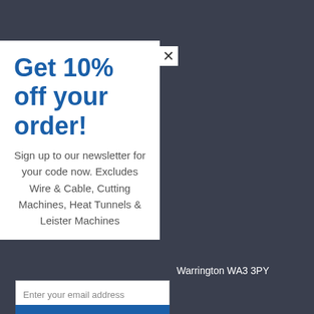Get 10% off your order!
Sign up to our newsletter for your code now. Excludes Wire & Cable, Cutting Machines, Heat Tunnels & Leister Machines
Warrington WA3 3PY
Enter your email address
Sign me up!